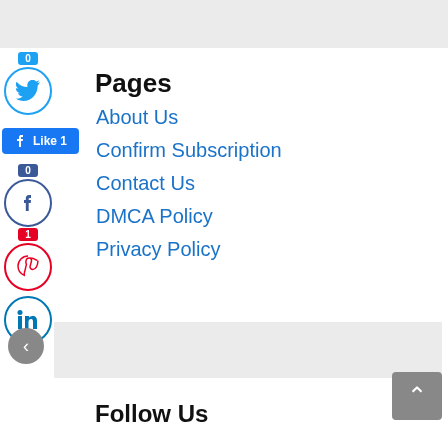Pages
[Figure (other): Twitter share button with count badge showing 0]
[Figure (other): Facebook Like button showing Like 1]
[Figure (other): Facebook share button with count badge showing 0]
[Figure (other): Pinterest share button with count badge showing 1]
[Figure (other): LinkedIn share button]
About Us
Confirm Subscription
Contact Us
DMCA Policy
Privacy Policy
[Figure (other): Previous arrow navigation button (gray circle with left arrow)]
[Figure (other): Gray banner/advertisement placeholder]
[Figure (other): Back to top button (gray square with up arrow)]
Follow Us